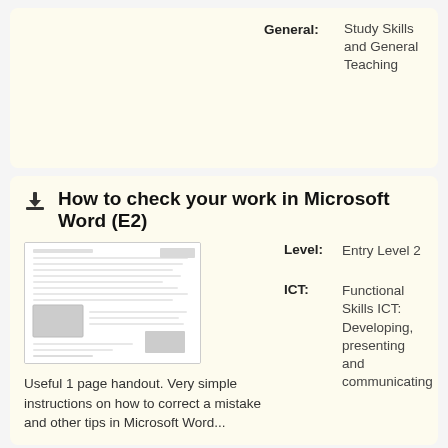| General: |  |
| --- | --- |
|  | Study Skills and General Teaching |
How to check your work in Microsoft Word (E2)
[Figure (other): Thumbnail preview of a document handout about checking work in Microsoft Word]
Useful 1 page handout. Very simple instructions on how to correct a mistake and other tips in Microsoft Word...
| Level: |  |
| --- | --- |
|  | Entry Level 2 |
| ICT: |  |
| --- | --- |
|  | Functional Skills ICT: Developing, presenting and communicating |